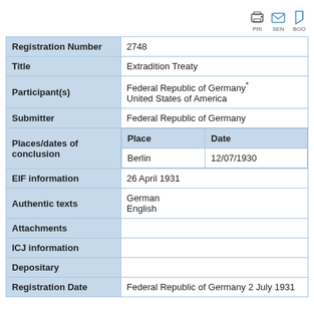PRI SEN BOO (icons)
| Field | Value |
| --- | --- |
| Registration Number | 2748 |
| Title | Extradition Treaty |
| Participant(s) | Federal Republic of Germany*
United States of America |
| Submitter | Federal Republic of Germany |
| Places/dates of conclusion | Place | Date
Berlin | 12/07/1930 |
| EIF information | 26 April 1931 |
| Authentic texts | German
English |
| Attachments |  |
| ICJ information |  |
| Depositary |  |
| Registration Date | Federal Republic of Germany 2 July 1931 |